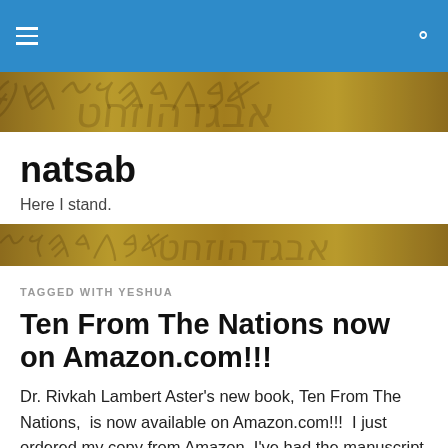natsab — Here I stand.
[Figure (photo): Banner image showing ancient text/manuscript texture in golden-brown tones]
natsab
Here I stand.
[Figure (photo): Second banner image showing ancient text/manuscript texture in golden-brown tones]
TAGGED WITH YESHUA
Ten From The Nations now on Amazon.com!!!
Dr. Rivkah Lambert Aster's new book, Ten From The Nations,  is now available on Amazon.com!!!  I just ordered my copy from Amazon. I've had the manuscript and will put together a full review in the next couple days, but want you to go ahead and help promote this unique book that